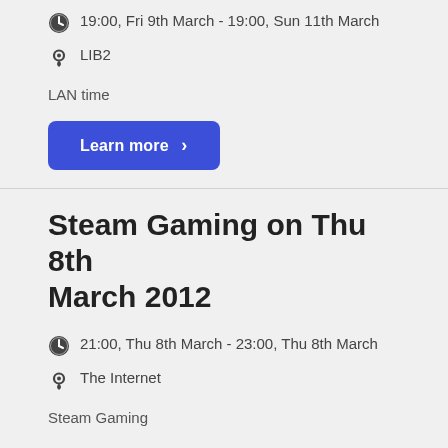19:00, Fri 9th March - 19:00, Sun 11th March
LIB2
LAN time
Learn more ›
Steam Gaming on Thu 8th March 2012
21:00, Thu 8th March - 23:00, Thu 8th March
The Internet
Steam Gaming